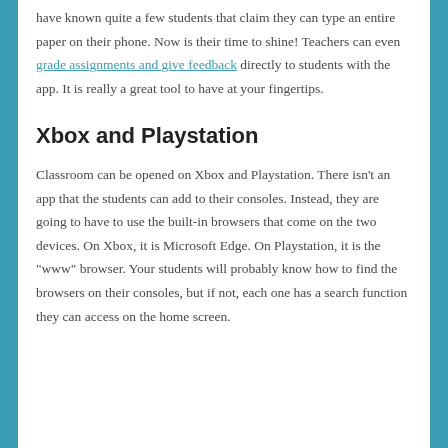have known quite a few students that claim they can type an entire paper on their phone. Now is their time to shine! Teachers can even grade assignments and give feedback directly to students with the app. It is really a great tool to have at your fingertips.
Xbox and Playstation
Classroom can be opened on Xbox and Playstation. There isn't an app that the students can add to their consoles. Instead, they are going to have to use the built-in browsers that come on the two devices. On Xbox, it is Microsoft Edge. On Playstation, it is the "www" browser. Your students will probably know how to find the browsers on their consoles, but if not, each one has a search function they can access on the home screen.